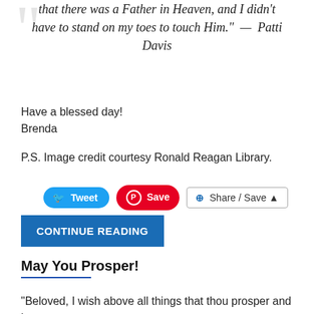that there was a Father in Heaven, and I didn't have to stand on my toes to touch Him." — Patti Davis
Have a blessed day!
Brenda
P.S. Image credit courtesy Ronald Reagan Library.
[Figure (screenshot): Social sharing buttons: Tweet, Save (Pinterest), Share/Save]
[Figure (screenshot): CONTINUE READING button in blue]
May You Prosper!
"Beloved, I wish above all things that thou prosper and be